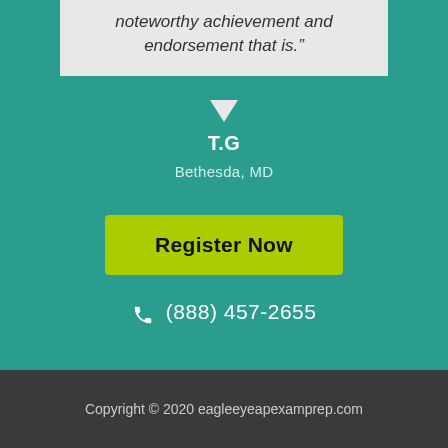noteworthy achievement and endorsement that is.”
T.G
Bethesda, MD
Register Now
(888) 457-2655
Copyright © 2020 eagleeyeapexamprep.com